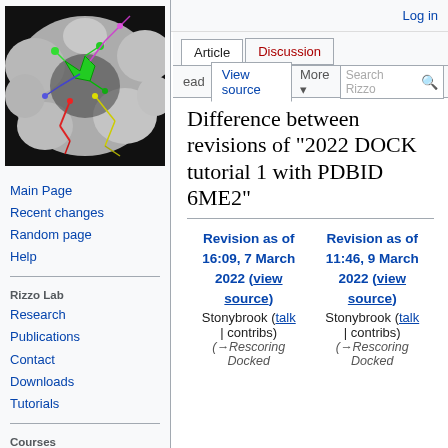Log in
[Figure (photo): Molecular docking visualization showing protein surface (gray) with multiple colorful ligand molecules (green, red, yellow, blue, magenta) in a binding site on a black background]
Main Page
Recent changes
Random page
Help
Rizzo Lab
Research
Publications
Contact
Downloads
Tutorials
Courses
AMS-531
Difference between revisions of "2022 DOCK tutorial 1 with PDBID 6ME2"
| Revision as of 16:09, 7 March 2022 (view source) | Revision as of 11:46, 9 March 2022 (view source) |
| --- | --- |
| Stonybrook (talk | contribs) | Stonybrook (talk | contribs) |
| (→Rescoring Docked | (→Rescoring Docked |